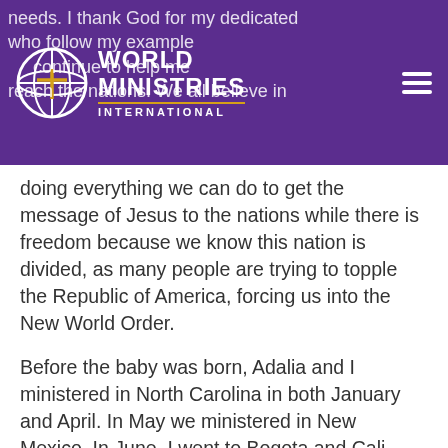[Figure (logo): World Ministries International logo with globe icon and hamburger menu on purple header background with overlaid faded text]
doing everything we can do to get the message of Jesus to the nations while there is freedom because we know this nation is divided, as many people are trying to topple the Republic of America, forcing us into the New World Order.
Before the baby was born, Adalia and I ministered in North Carolina in both January and April. In May we ministered in New Mexico. In June, I went to Bogota and Cali, Colombia. On August 30, Adalia and I took our newborn son and flew to Kansas to